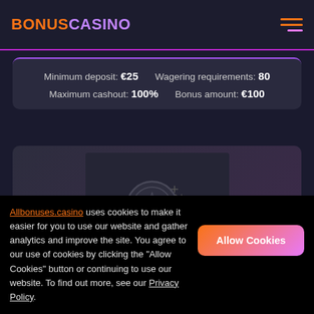BONUSCASINO
Minimum deposit: €25   Wagering requirements: 80
Maximum cashout: 100%   Bonus amount: €100
[Figure (illustration): Dark card with casino chip and dollar sign icon outline]
Allbonuses.casino uses cookies to make it easier for you to use our website and gather analytics and improve the site. You agree to our use of cookies by clicking the "Allow Cookies" button or continuing to use our website. To find out more, see our Privacy Policy.